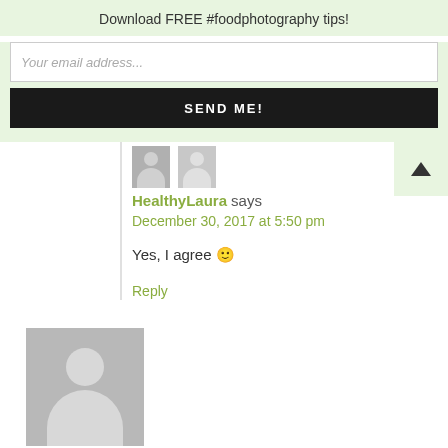Download FREE #foodphotography tips!
Your email address...
SEND ME!
HealthyLaura says
December 30, 2017 at 5:50 pm
Yes, I agree 🙂
Reply
[Figure (photo): Default user avatar placeholder — grey background with white silhouette of a person]